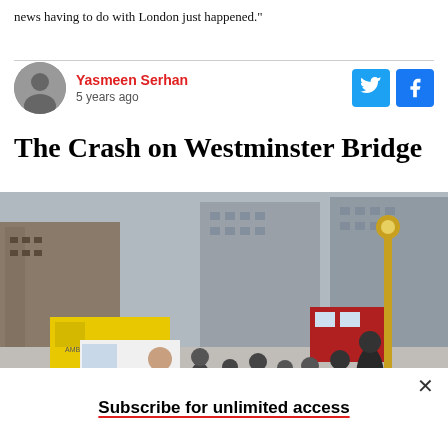news having to do with London just happened."
Yasmeen Serhan
5 years ago
The Crash on Westminster Bridge
[Figure (photo): People on Westminster Bridge following an incident, with an ambulance and crowd visible, London city buildings in background]
Subscribe for unlimited access